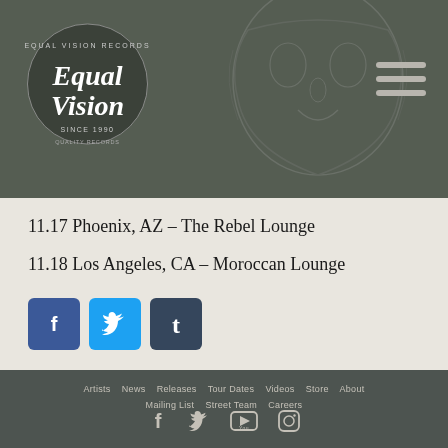[Figure (logo): Equal Vision Records cursive logo in white on dark circular badge, 'Since 1990' text]
[Figure (illustration): Faded decorative face illustration in background of header]
11.17 Phoenix, AZ – The Rebel Lounge
11.18 Los Angeles, CA – Moroccan Lounge
[Figure (other): Social media share buttons: Facebook (blue), Twitter (light blue), Tumblr (dark blue)]
Artists  News  Releases  Tour Dates  Videos  Store  About  Mailing List  Street Team  Careers
[Figure (other): Footer social icons: Facebook, Twitter, YouTube, Instagram]
© 2022 Equal Vision Records.